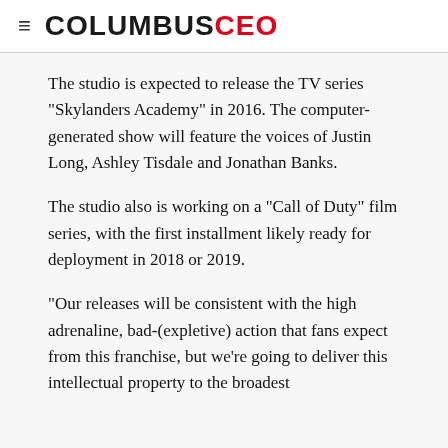COLUMBUSCEO
The studio is expected to release the TV series "Skylanders Academy" in 2016. The computer-generated show will feature the voices of Justin Long, Ashley Tisdale and Jonathan Banks.
The studio also is working on a "Call of Duty" film series, with the first installment likely ready for deployment in 2018 or 2019.
"Our releases will be consistent with the high adrenaline, bad-(expletive) action that fans expect from this franchise, but we're going to deliver this intellectual property to the broadest